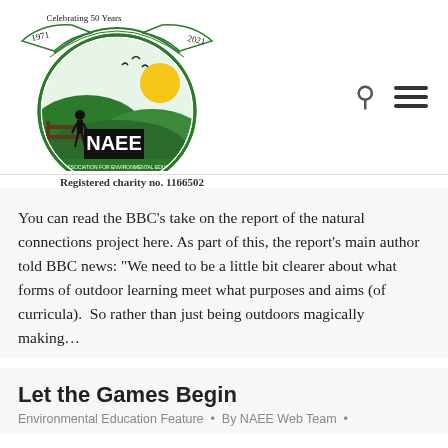[Figure (logo): NAEE (National Association for Environmental Education UK) logo with '1971 Celebrating 50 Years 2021' banner, green hills, sun, and birds. Text: 'Registered charity no. 1166502']
You can read the BBC’s take on the report of the natural connections project here. As part of this, the report’s main author told BBC news: “We need to be a little bit clearer about what forms of outdoor learning meet what purposes and aims (of curricula).  So rather than just being outdoors magically making…
Let the Games Begin
Environmental Education Feature • By NAEE Web Team •